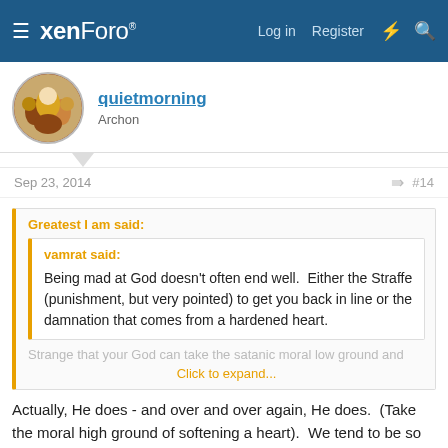xenForo — Log in  Register
quietmorning
Archon
Sep 23, 2014  #14
Greatest I am said:
vamrat said:
Being mad at God doesn't often end well.  Either the Straffe (punishment, but very pointed) to get you back in line or the damnation that comes from a hardened heart.
Strange that your God can take the satanic moral low ground and
Click to expand...
Actually, He does - and over and over again, He does.  (Take the moral high ground of softening a heart).  We tend to be so stuck in our anger, however that we don't ACCEPT His generosity.  We also tend to secret away our anger... if we say